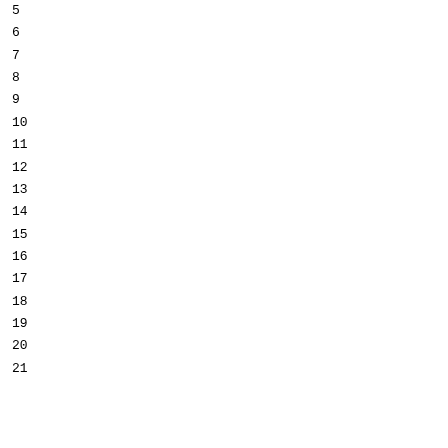5
6
7
8
9
10
11
12
13
14
15
16
17
18
19
20
21